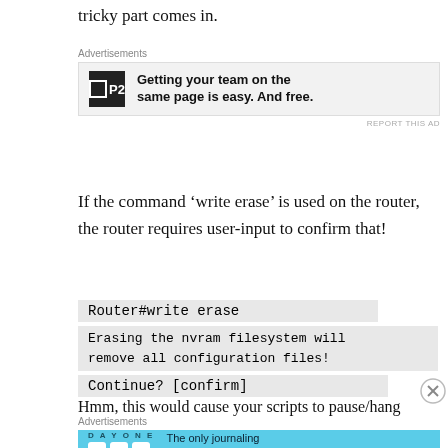tricky part comes in.
[Figure (other): Advertisement banner for P2 - 'Getting your team on the same page is easy. And free.']
If the command ‘write erase’ is used on the router, the router requires user-input to confirm that!
Router#write erase
Erasing the nvram filesystem will remove all configuration files!
Continue? [confirm]
Hmm, this would cause your scripts to pause/hang
[Figure (other): Advertisement banner for Day One journaling app - 'The only journaling app you'll ever need.']